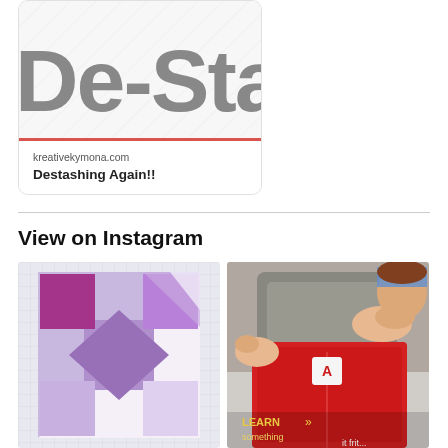[Figure (screenshot): Card with 'De-Stash' text image and link to kreativekymona.com with title 'Destashing Again!!']
kreativekymona.com
Destashing Again!!
View on Instagram
[Figure (photo): Instagram photo of a purple and white quilt block on a cutting mat]
[Figure (photo): Instagram video still of a child at a sewing machine with a red fabric item, with 'LEARN something' text overlay]